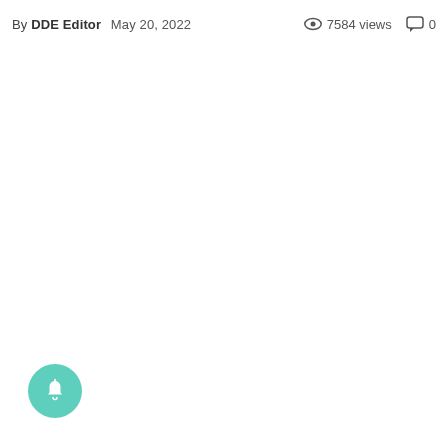By DDE Editor  May 20, 2022  👁 7584 views  💬 0
[Figure (illustration): Teal circular notification bell button in the bottom-left corner]